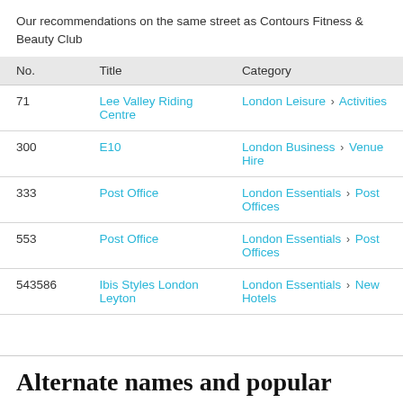Our recommendations on the same street as Contours Fitness & Beauty Club
| No. | Title | Category |
| --- | --- | --- |
| 71 | Lee Valley Riding Centre | London Leisure > Activities |
| 300 | E10 | London Business > Venue Hire |
| 333 | Post Office | London Essentials > Post Offices |
| 553 | Post Office | London Essentials > Post Offices |
| 543586 | Ibis Styles London Leyton | London Essentials > New Hotels |
Alternate names and popular